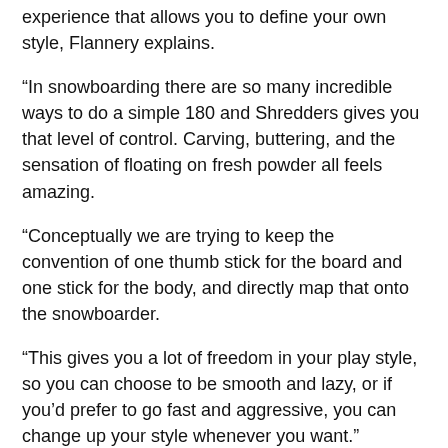experience that allows you to define your own style, Flannery explains.
“In snowboarding there are so many incredible ways to do a simple 180 and Shredders gives you that level of control. Carving, buttering, and the sensation of floating on fresh powder all feels amazing.
“Conceptually we are trying to keep the convention of one thumb stick for the board and one stick for the body, and directly map that onto the snowboarder.
“This gives you a lot of freedom in your play style, so you can choose to be smooth and lazy, or if you’d prefer to go fast and aggressive, you can change up your style whenever you want.”
Shredders is due for release on Xbox Series X/S in December 2021, and will be available on Game Pass on day one.